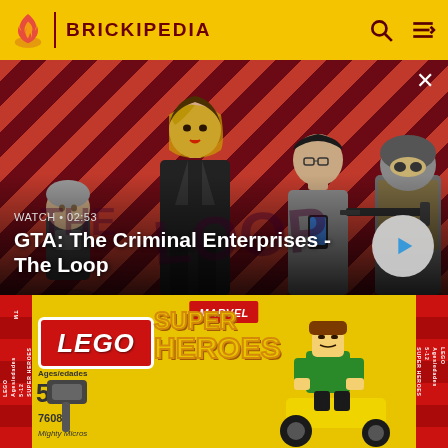BRICKIPEDIA
[Figure (screenshot): GTA: The Criminal Enterprises - The Loop video thumbnail. Red and dark diagonal striped background with four game characters. White text overlay reads WATCH • 02:53 and GTA: The Criminal Enterprises - The Loop. Circular play button on right.]
WATCH • 02:53
GTA: The Criminal Enterprises - The Loop
[Figure (photo): LEGO Marvel Super Heroes set box. Ages/edades 5-12, set number 76089, Mighty Micros. Shows a green-costumed LEGO minifigure villain in a yellow vehicle.]